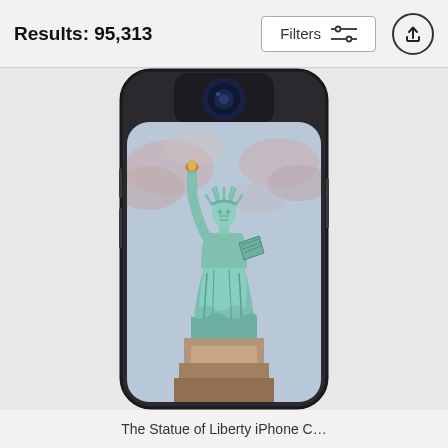Results: 95,313
[Figure (screenshot): Filters button with sliders icon and upload/share arrow button in circle]
[Figure (photo): Phone case product showing Statue of Liberty photo on the case. The case is a smartphone case with rounded corners and a camera cutout at the top. The Statue of Liberty is depicted against a cloudy blue/pink sky.]
The Statue of Liberty iPhone C…